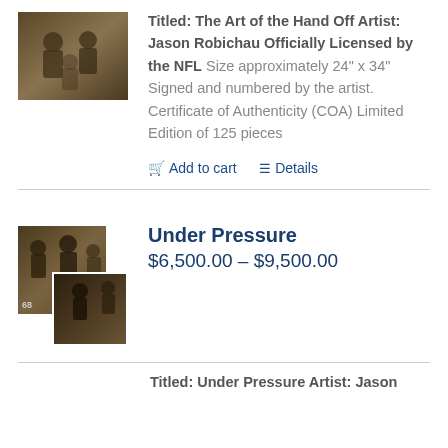[Figure (photo): Small sepia-toned photo of football players at top left]
Titled: The Art of the Hand Off Artist: Jason Robichau Officially Licensed by the NFL Size approximately 24" x 34" Signed and numbered by the artist. Certificate of Authenticity (COA) Limited Edition of 125 pieces
Add to cart   Details
[Figure (photo): Two overlapping sepia-toned photos of football players, second product listing]
Under Pressure
$6,500.00 – $9,500.00
Titled: Under Pressure Artist: Jason